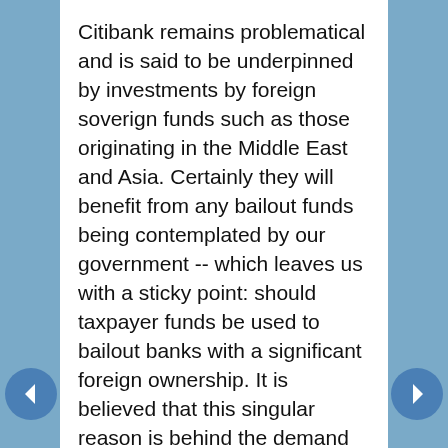Citibank remains problematical and is said to be underpinned by investments by foreign soverign funds such as those originating in the Middle East and Asia. Certainly they will benefit from any bailout funds being contemplated by our government -- which leaves us with a sticky point: should taxpayer funds be used to bailout banks with a significant foreign ownership. It is believed that this singular reason is behind the demand that Treasury Secretary Paulson be given absolute power to do as he sees fit -- without any judicial review. Primarily why I am against the Paulson proposal that is before Congress on 9/25/08.